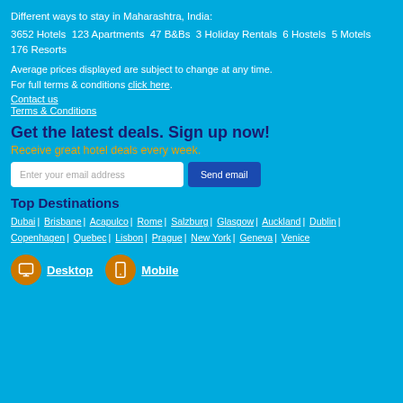Different ways to stay in Maharashtra, India:
3652 Hotels  123 Apartments  47 B&Bs  3 Holiday Rentals  6 Hostels  5 Motels  176 Resorts
Average prices displayed are subject to change at any time.
For full terms & conditions click here.
Contact us
Terms & Conditions
Get the latest deals. Sign up now!
Receive great hotel deals every week.
[Email input] Enter your email address  [Button] Send email
Top Destinations
Dubai | Brisbane | Acapulco | Rome | Salzburg | Glasgow | Auckland | Dublin | Copenhagen | Quebec | Lisbon | Prague | New York | Geneva | Venice
Desktop  Mobile